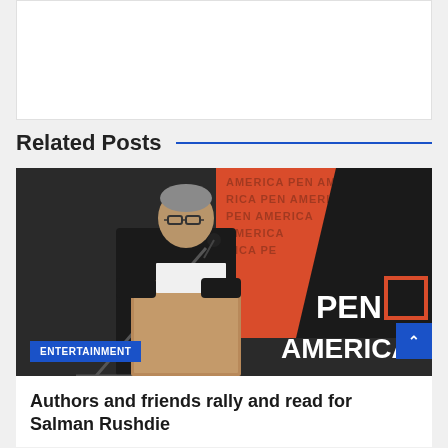[Figure (other): White advertisement/content box at the top of the page]
Related Posts
[Figure (photo): Photo of a man in black shirt reading at a podium/lectern with a microphone, in front of a PEN America branded backdrop with orange and black colors showing 'PEN AMERICA' text repeated]
ENTERTAINMENT
Authors and friends rally and read for Salman Rushdie